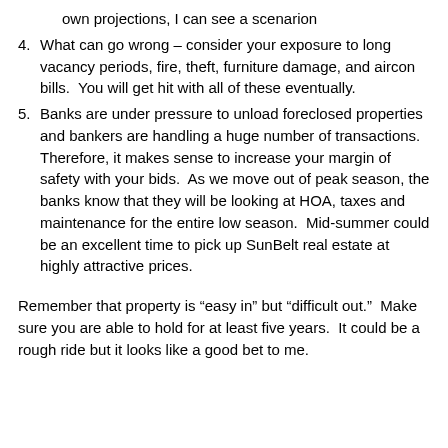own projections, I can see a scenarion
4. What can go wrong – consider your exposure to long vacancy periods, fire, theft, furniture damage, and aircon bills.  You will get hit with all of these eventually.
5. Banks are under pressure to unload foreclosed properties and bankers are handling a huge number of transactions.  Therefore, it makes sense to increase your margin of safety with your bids.  As we move out of peak season, the banks know that they will be looking at HOA, taxes and maintenance for the entire low season.  Mid-summer could be an excellent time to pick up SunBelt real estate at highly attractive prices.
Remember that property is “easy in” but “difficult out.”  Make sure you are able to hold for at least five years.  It could be a rough ride but it looks like a good bet to me.